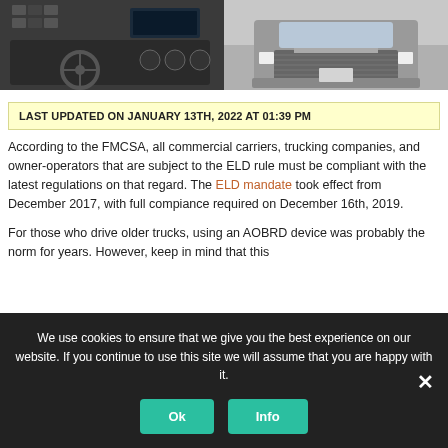[Figure (photo): Two-panel photo banner: left panel shows truck cab interior with dashboard controls; right panel shows front view of a large commercial truck.]
LAST UPDATED ON JANUARY 13TH, 2022 AT 01:39 PM
According to the FMCSA, all commercial carriers, trucking companies, and owner-operators that are subject to the ELD rule must be compliant with the latest regulations on that regard. The ELD mandate took effect from December 2017, with full compiance required on December 16th, 2019.
For those who drive older trucks, using an AOBRD device was probably the norm for years. However, keep in mind that this
We use cookies to ensure that we give you the best experience on our website. If you continue to use this site we will assume that you are happy with it.